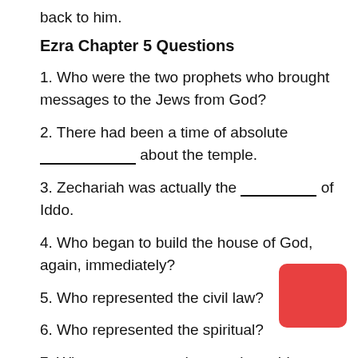back to him.
Ezra Chapter 5 Questions
1. Who were the two prophets who brought messages to the Jews from God?
2. There had been a time of absolute _____________ about the temple.
3. Zechariah was actually the ___________ of Iddo.
4. Who began to build the house of God, again, immediately?
5. Who represented the civil law?
6. Who represented the spiritual?
7. Where can we read more about this experience of the building of the temple?